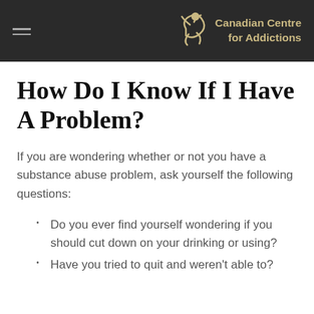Canadian Centre for Addictions
How Do I Know If I Have A Problem?
If you are wondering whether or not you have a substance abuse problem, ask yourself the following questions:
Do you ever find yourself wondering if you should cut down on your drinking or using?
Have you tried to quit and weren't able to?